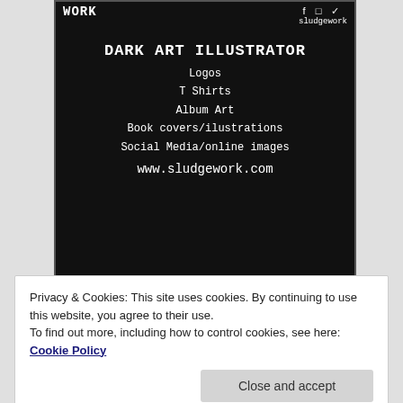[Figure (illustration): Dark art illustration advertisement for Sludgework. Black background with skull/dark art imagery. Shows logo text 'WORK' top left, social media icons and handle 'sludgework' top right. Center text: 'DARK ART ILLUSTRATOR', services list: Logos, T Shirts, Album Art, Book covers/ilustrations, Social Media/online images, and website www.sludgework.com]
Privacy & Cookies: This site uses cookies. By continuing to use this website, you agree to their use.
To find out more, including how to control cookies, see here: Cookie Policy
[Figure (photo): Bottom strip showing partial red and black image with text 'ITS ONLY' in large red letters]